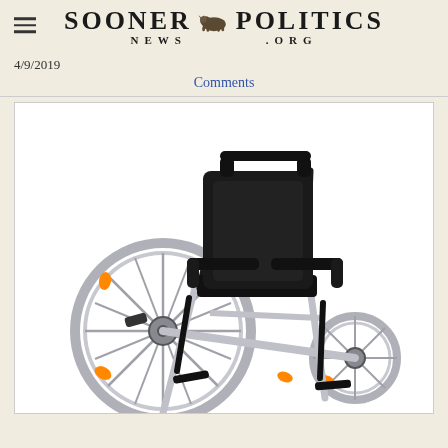Sooner Politics News .org
4/9/2019
Comments
[Figure (photo): A black and silver manual wheelchair with large spoke wheels, orange reflectors, padded black seat and back, armrests, and footrests, photographed on a white background.]